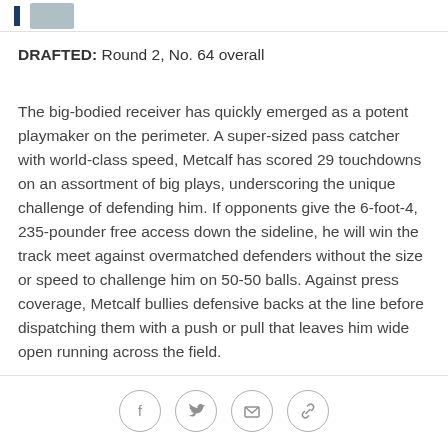[Figure (photo): Top bar with blue stripe and player photo thumbnail]
DRAFTED: Round 2, No. 64 overall
The big-bodied receiver has quickly emerged as a potent playmaker on the perimeter. A super-sized pass catcher with world-class speed, Metcalf has scored 29 touchdowns on an assortment of big plays, underscoring the unique challenge of defending him. If opponents give the 6-foot-4, 235-pounder free access down the sideline, he will win the track meet against overmatched defenders without the size or speed to challenge him on 50-50 balls. Against press coverage, Metcalf bullies defensive backs at the line before dispatching them with a push or pull that leaves him wide open running across the field.
[Figure (other): Social share icons: Facebook, Twitter, Email, Link]